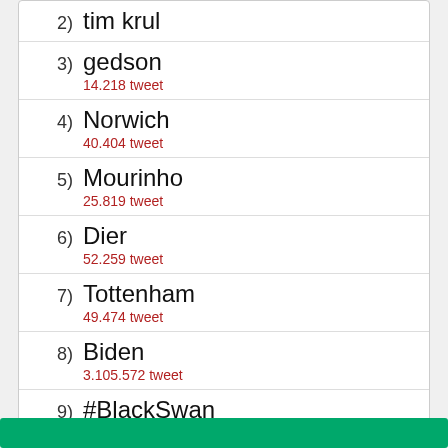2) tim krul
3) gedson
14.218 tweet
4) Norwich
40.404 tweet
5) Mourinho
25.819 tweet
6) Dier
52.259 tweet
7) Tottenham
49.474 tweet
8) Biden
3.105.572 tweet
9) #BlackSwan
1.294.064 tweet
10) Brann